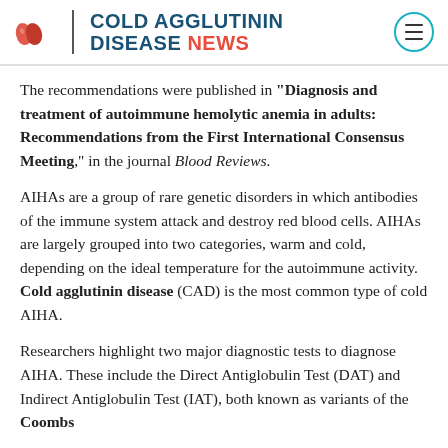COLD AGGLUTININ DISEASE NEWS
The recommendations were published in “Diagnosis and treatment of autoimmune hemolytic anemia in adults: Recommendations from the First International Consensus Meeting,” in the journal Blood Reviews.
AIHAs are a group of rare genetic disorders in which antibodies of the immune system attack and destroy red blood cells. AIHAs are largely grouped into two categories, warm and cold, depending on the ideal temperature for the autoimmune activity. Cold agglutinin disease (CAD) is the most common type of cold AIHA.
Researchers highlight two major diagnostic tests to diagnose AIHA. These include the Direct Antiglobulin Test (DAT) and Indirect Antiglobulin Test (IAT), both known as variants of the Coombs